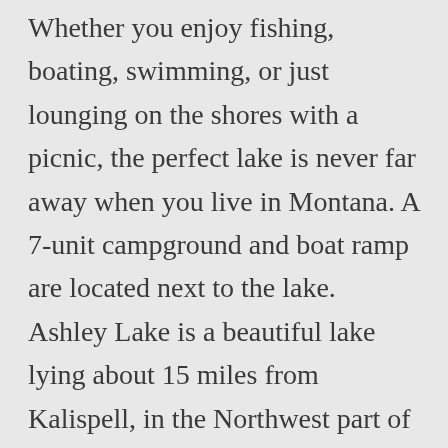Whether you enjoy fishing, boating, swimming, or just lounging on the shores with a picnic, the perfect lake is never far away when you live in Montana. A 7-unit campground and boat ramp are located next to the lake. Ashley Lake is a beautiful lake lying about 15 miles from Kalispell, in the Northwest part of Montana. Montana FWP regularly stocks the lake with kokanee and west slope cutthroat trout. 3910 N Ashley Lake Rd , Kalispell, MT 59901-8128 is currently not for sale. The project will replace the old, broken boat ramp with a new ramp that will accommodate larger vehicles and boats ... Nonetheless, the lake fishes well for perch, kokanee salmon and nice-size rainbows. The Spartan Race is coming up May 9th and